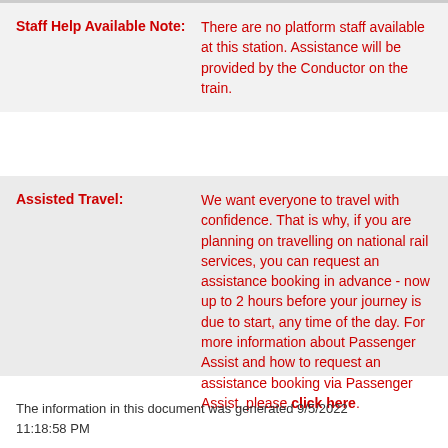Staff Help Available Note: There are no platform staff available at this station. Assistance will be provided by the Conductor on the train.
Assisted Travel: We want everyone to travel with confidence. That is why, if you are planning on travelling on national rail services, you can request an assistance booking in advance - now up to 2 hours before your journey is due to start, any time of the day. For more information about Passenger Assist and how to request an assistance booking via Passenger Assist, please click here.
The information in this document was generated 9/5/2022 11:18:58 PM